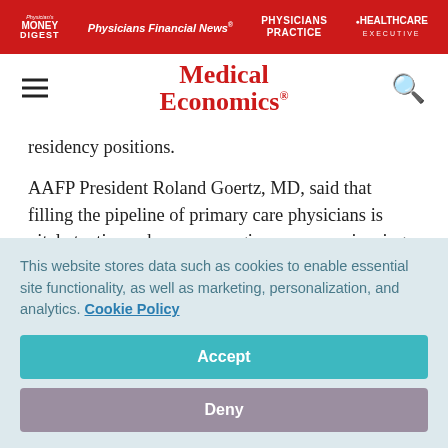Physician's Money Digest | Physicians Financial News | Physicians Practice | HEALTHCARE EXECUTIVE
[Figure (logo): Medical Economics logo with red text]
residency positions.
AAFP President Roland Goertz, MD, said that filling the pipeline of primary care physicians is vital at a time when many regions are experiencing doctor shortages.
“Family physicians are the bedrock of primary care, and
This website stores data such as cookies to enable essential site functionality, as well as marketing, personalization, and analytics. Cookie Policy
Accept
Deny